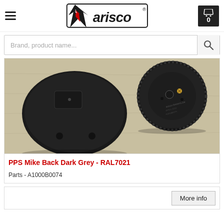[Figure (logo): Arisco brand logo with stylized arrow/star icon and 'arisco' text with registered trademark symbol]
Brand, product name...
[Figure (photo): Photo of two dark grey PPS Mike Back components placed on a light wooden surface — showing rear/underside of speaker/microphone parts]
PPS Mike Back Dark Grey - RAL7021
Parts - A1000B0074
More info